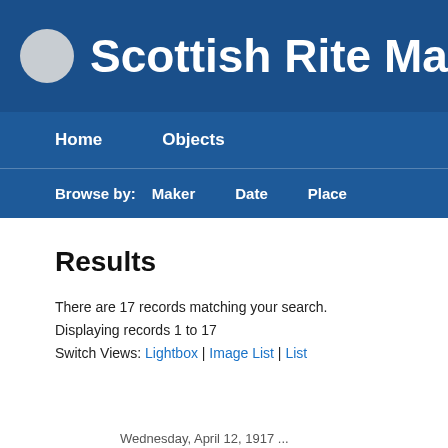Scottish Rite Maso
Home  Objects
Browse by:  Maker  Date  Place
Results
There are 17 records matching your search.
Displaying records 1 to 17
Switch Views: Lightbox | Image List | List